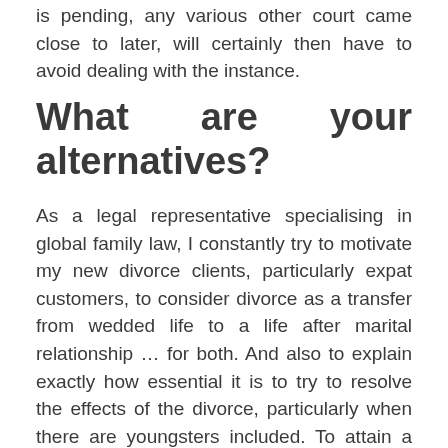is pending, any various other court came close to later, will certainly then have to avoid dealing with the instance.
What are your alternatives?
As a legal representative specialising in global family law, I constantly try to motivate my new divorce clients, particularly expat customers, to consider divorce as a transfer from wedded life to a life after marital relationship … for both. And also to explain exactly how essential it is to try to resolve the effects of the divorce, particularly when there are youngsters included. To attain a liveable life after divorce, I usually